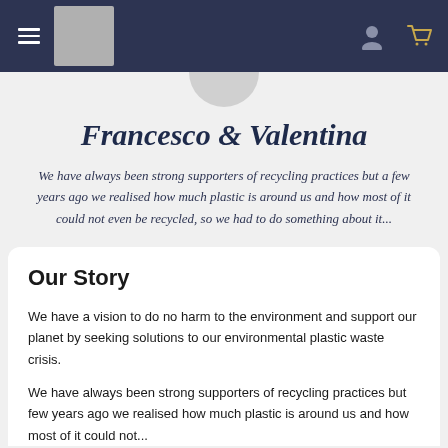Navigation bar with hamburger menu, logo, user icon, and cart icon
[Figure (illustration): Circular profile picture placeholder, gray circle]
Francesco & Valentina
We have always been strong supporters of recycling practices but a few years ago we realised how much plastic is around us and how most of it could not even be recycled, so we had to do something about it...
Our Story
We have a vision to do no harm to the environment and support our planet by seeking solutions to our environmental plastic waste crisis.
We have always been strong supporters of recycling practices but few years ago we realised how much plastic is around us and how most of it could not...